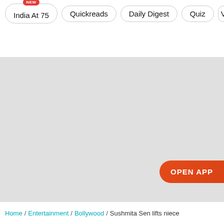India At 75 | Quickreads | Daily Digest | Quiz | V
[Figure (other): Gray advertisement placeholder block with an OPEN APP button in the lower right corner]
Home / Entertainment / Bollywood / Sushmita Sen lifts niece